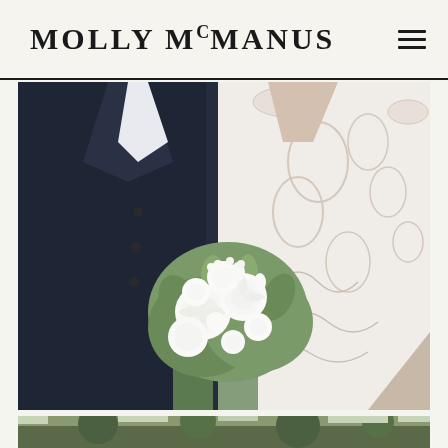MOLLY McMMANUS
[Figure (photo): Wedding photo showing groom in dark navy tuxedo on the left and bride in an off-shoulder white lace wedding dress on the right, holding a large white floral bouquet with green foliage including white roses and peonies. Only their torsos and bouquet are visible, no faces shown.]
[Figure (photo): Partial thumbnail of another wedding photo at the bottom of the page, showing greenery/garden setting, cropped.]